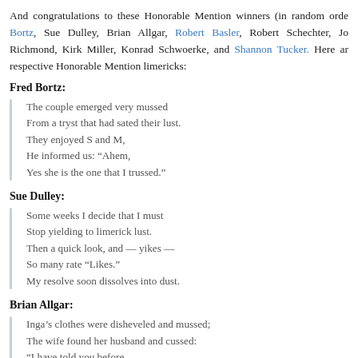And congratulations to these Honorable Mention winners (in random order): Fred Bortz, Sue Dulley, Brian Allgar, Robert Basler, Robert Schechter, Jo Richmond, Kirk Miller, Konrad Schwoerke, and Shannon Tucker. Here are their respective Honorable Mention limericks:
Fred Bortz:
The couple emerged very mussed
From a tryst that had sated their lust.
They enjoyed S and M,
He informed us: “Ahem,
Yes she is the one that I trussed.”
Sue Dulley:
Some weeks I decide that I must
Stop yielding to limerick lust.
Then a quick look, and — yikes —
So many rate “Likes.”
My resolve soon dissolves into dust.
Brian Allgar:
Inga’s clothes were disheveled and mussed;
The wife found her husband and cussed:
“I have told you before,
The au pair’s not a whore,
So please try to inhibit this timed obsession.”